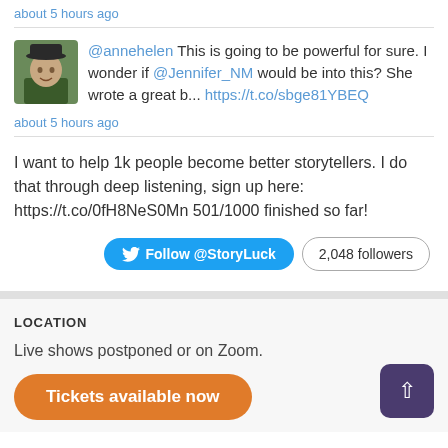about 5 hours ago
@annehelen This is going to be powerful for sure. I wonder if @Jennifer_NM would be into this? She wrote a great b... https://t.co/sbge81YBEQ
about 5 hours ago
I want to help 1k people become better storytellers. I do that through deep listening, sign up here: https://t.co/0fH8NeS0Mn 501/1000 finished so far!
Follow @StoryLuck   2,048 followers
LOCATION
Live shows postponed or on Zoom.
Tickets available now